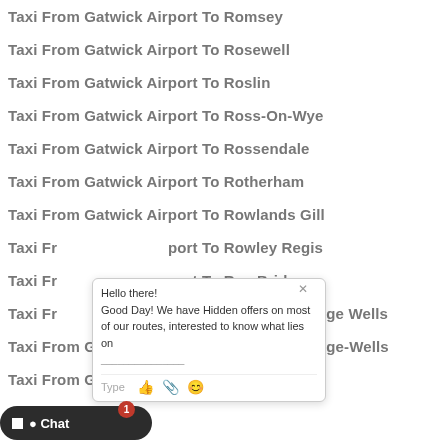Taxi From Gatwick Airport To Romsey
Taxi From Gatwick Airport To Rosewell
Taxi From Gatwick Airport To Roslin
Taxi From Gatwick Airport To Ross-On-Wye
Taxi From Gatwick Airport To Rossendale
Taxi From Gatwick Airport To Rotherham
Taxi From Gatwick Airport To Rowlands Gill
Taxi From Gatwick Airport To Rowley Regis
Taxi From Gatwick Airport To Roy Bridge
Taxi From Gatwick Airport To Royal-Tunbridge Wells
Taxi From Gatwick Airport To Royal-Tunbridge-Wells
Taxi From Gatwick Airport To Royston